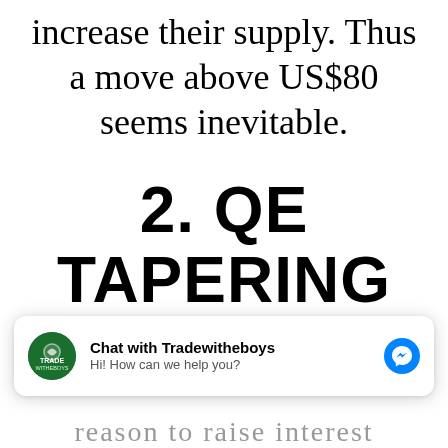increase their supply. Thus a move above US$80 seems inevitable.
2. QE TAPERING
I don't think there is a
[Figure (screenshot): Facebook Messenger chat widget overlay with Tradewitheboys avatar, title 'Chat with Tradewitheboys', subtitle 'Hi! How can we help you?' and blue messenger icon]
reason to raise interest